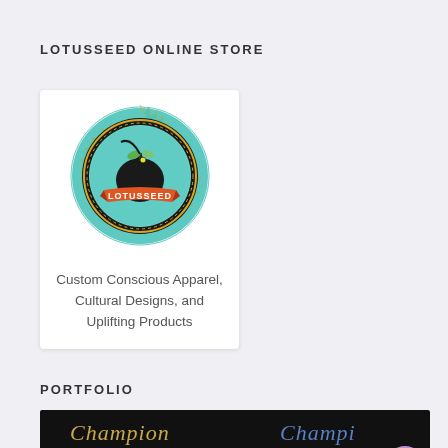LOTUSSEED ONLINE STORE
[Figure (logo): Lotusseed circular logo badge with teal/green gradient background, black fruit illustration with green bow, orange ribbon banner with 'LOTUSSEED' text, surrounded by sawtooth/sunburst border in teal and gold]
Custom Conscious Apparel, Cultural Designs, and Uplifting Products
PORTFOLIO
[Figure (photo): Black background image with 'Champion' written in gold cursive/script text repeated in multiple positions and colors (gold and blue), portfolio showcase image]